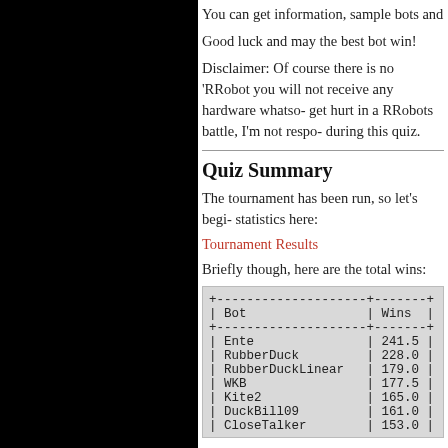You can get information, sample bots and
Good luck and may the best bot win!
Disclaimer: Of course there is no 'RRobot you will not receive any hardware whatso- get hurt in a RRobots battle, I'm not respo- during this quiz.
Quiz Summary
The tournament has been run, so let's begi- statistics here:
Tournament Results
Briefly though, here are the total wins:
| Bot | Wins |
| --- | --- |
| Ente | 241.5 |
| RubberDuck | 228.0 |
| RubberDuckLinear | 179.0 |
| WKB | 177.5 |
| Kite2 | 165.0 |
| DuckBill09 | 161.0 |
| CloseTalker | 153.0 |